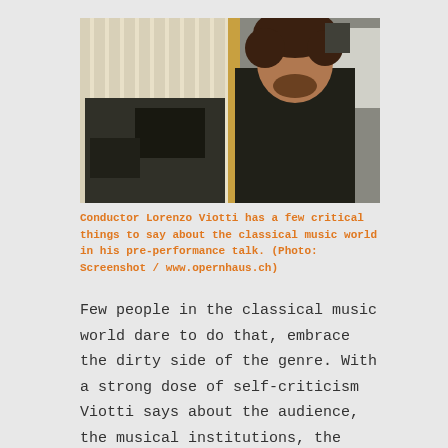[Figure (photo): A man with curly hair wearing a black shirt, standing in what appears to be a concert hall or rehearsal room with vertical blinds and music stands in the background.]
Conductor Lorenzo Viotti has a few critical things to say about the classical music world in his pre-performance talk. (Photo: Screenshot / www.opernhaus.ch)
Few people in the classical music world dare to do that, embrace the dirty side of the genre. With a strong dose of self-criticism Viotti says about the audience, the musical institutions, the